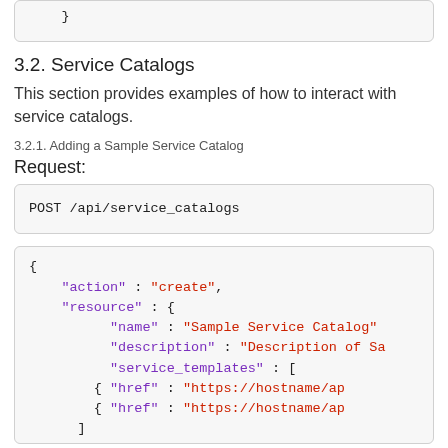}
3.2. Service Catalogs
This section provides examples of how to interact with service catalogs.
3.2.1. Adding a Sample Service Catalog
Request:
[Figure (screenshot): Code block showing: POST /api/service_catalogs]
[Figure (screenshot): Code block showing JSON body with action: 'create', resource with name, description, service_templates array with two href entries]